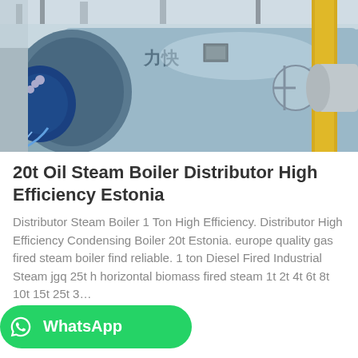[Figure (photo): Industrial oil steam boiler in a factory setting, showing a large cylindrical horizontal boiler in silver/grey color with blue motor attached on left side, yellow pipe on right, various valves and Chinese characters on the boiler body.]
20t Oil Steam Boiler Distributor High Efficiency Estonia
Distributor Steam Boiler 1 Ton High Efficiency. Distributor High Efficiency Condensing Boiler 20t Estonia. europe quality gas fired steam boiler find reliable. 1 ton Diesel Fired Industrial Steam jgq 25t h horizontal biomass fired steam 1t 2t 4t 6t 8t 10t 15t 25t 3…
[Figure (photo): WhatsApp contact button — green rounded rectangle with WhatsApp phone icon on left and 'WhatsApp' text on right, overlapping a blue 'Get Price' button.]
[Figure (photo): Partial view of another industrial boiler image at the bottom of the page, showing similar industrial equipment with yellow pipes.]